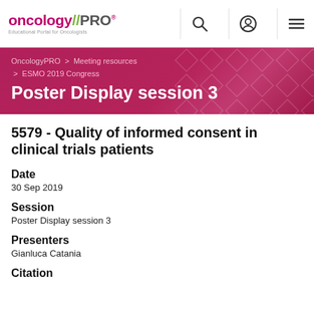oncology//PRO® — Educational Portal for Oncologists
OncologyPRO > Meeting resources > ESMO 2019 Congress
Poster Display session 3
5579 - Quality of informed consent in clinical trials patients
Date
30 Sep 2019
Session
Poster Display session 3
Presenters
Gianluca Catania
Citation